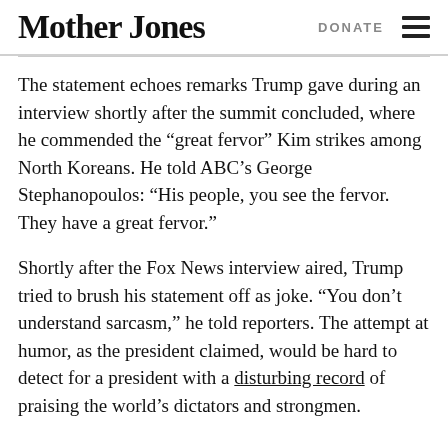Mother Jones | DONATE
The statement echoes remarks Trump gave during an interview shortly after the summit concluded, where he commended the “great fervor” Kim strikes among North Koreans. He told ABC’s George Stephanopoulos: “His people, you see the fervor. They have a great fervor.”
Shortly after the Fox News interview aired, Trump tried to brush his statement off as joke. “You don’t understand sarcasm,” he told reporters. The attempt at humor, as the president claimed, would be hard to detect for a president with a disturbing record of praising the world’s dictators and strongmen.